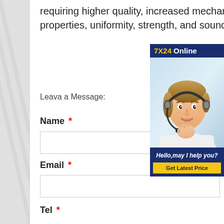requiring higher quality, increased mechanical properties, uniformity, strength, and soundness.
[Figure (photo): 7X24 Online support widget with a customer service representative wearing a headset, smiling. Bottom section says 'Hello, may I help you?' with a 'Get Latest Price' yellow button.]
Leava a Message:
Name *
Email *
Tel *